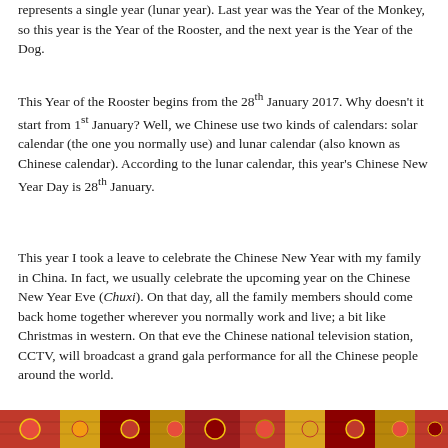represents a single year (lunar year). Last year was the Year of the Monkey, so this year is the Year of the Rooster, and the next year is the Year of the Dog.
This Year of the Rooster begins from the 28th January 2017. Why doesn't it start from 1st January? Well, we Chinese use two kinds of calendars: solar calendar (the one you normally use) and lunar calendar (also known as Chinese calendar). According to the lunar calendar, this year's Chinese New Year Day is 28th January.
This year I took a leave to celebrate the Chinese New Year with my family in China. In fact, we usually celebrate the upcoming year on the Chinese New Year Eve (Chuxi). On that day, all the family members should come back home together wherever you normally work and live; a bit like Christmas in western. On that eve the Chinese national television station, CCTV, will broadcast a grand gala performance for all the Chinese people around the world.
[Figure (photo): Decorative image strip at the bottom of the page showing colorful Chinese New Year decorations or pattern.]